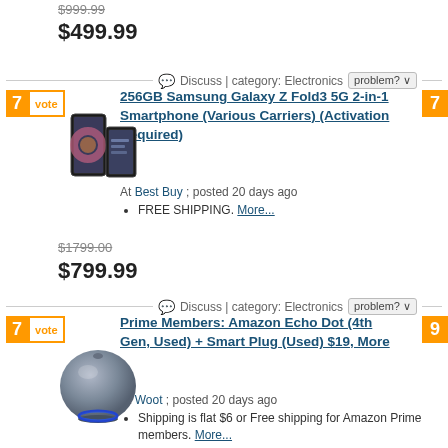$999.99 (strikethrough) $499.99
Discuss | category: Electronics  problem?
7 vote
256GB Samsung Galaxy Z Fold3 5G 2-in-1 Smartphone (Various Carriers) (Activation Required)
At Best Buy ; posted 20 days ago
FREE SHIPPING. More...
[Figure (photo): Samsung Galaxy Z Fold3 smartphone folded and unfolded view]
$1799.00 (strikethrough) $799.99
Discuss | category: Electronics  problem?
7 vote
Prime Members: Amazon Echo Dot (4th Gen, Used) + Smart Plug (Used) $19, More
At Woot ; posted 20 days ago
Shipping is flat $6 or Free shipping for Amazon Prime members. More...
[Figure (photo): Amazon Echo Dot 4th Gen in blue/grey color]